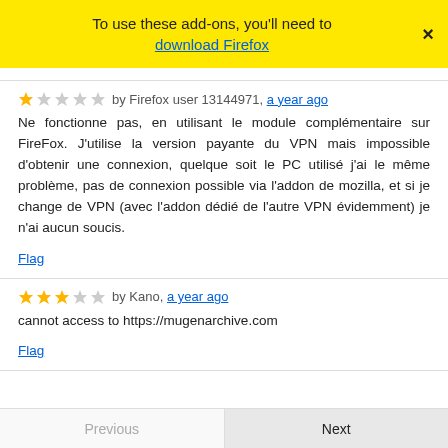To use these add-ons, you'll need to download Firefox
★☆☆☆☆ by Firefox user 13144971, a year ago
Ne fonctionne pas, en utilisant le module complémentaire sur FireFox. J'utilise la version payante du VPN mais impossible d'obtenir une connexion, quelque soit le PC utilisé j'ai le même problème, pas de connexion possible via l'addon de mozilla, et si je change de VPN (avec l'addon dédié de l'autre VPN évidemment) je n'ai aucun soucis.
Flag
★★★☆☆ by Kano, a year ago
cannot access to https://mugenarchive.com
Flag
Previous | Next